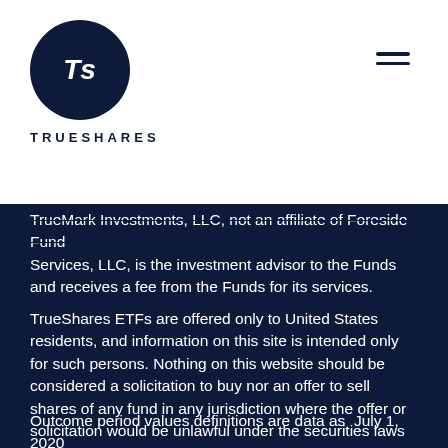[Figure (logo): TrueShares logo: dark navy circle with italic 'Ts' in white, with 'TRUESHARES' text below in dark navy capitals]
TrueMark Investments, LLC, not an affiliate of Foreside Fund Services, LLC, is the investment advisor to the Funds and receives a fee from the Funds for its services.
TrueShares ETFs are offered only to United States residents, and information on this site is intended only for such persons. Nothing on this website should be considered a solicitation to buy nor an offer to sell shares of any fund in any jurisdiction where the offer or solicitation would be unlawful under the securities laws of such jurisdiction.
Outcome period values definitions are data as  July 1, 2020